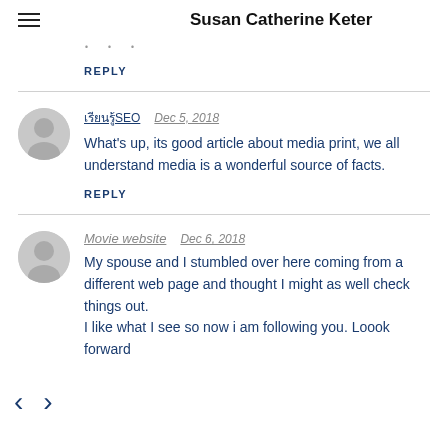Susan Catherine Keter
REPLY
Dec 5, 2018
What's up, its good article about media print, we all understand media is a wonderful source of facts.
REPLY
Movie website   Dec 6, 2018
My spouse and I stumbled over here coming from a different web page and thought I might as well check things out.
I like what I see so now i am following you. Loook forward